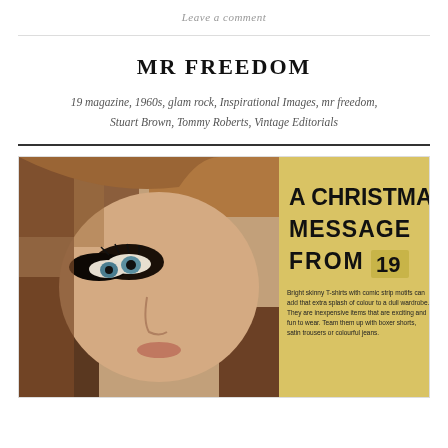Leave a comment
MR FREEDOM
19 magazine, 1960s, glam rock, Inspirational Images, mr freedom, Stuart Brown, Tommy Roberts, Vintage Editorials
[Figure (photo): Vintage magazine editorial photo: close-up of a young woman with long auburn hair and heavy eye makeup, overlaid with the text 'A CHRISTMAS MESSAGE FROM 19'. Below the headline is a small body text paragraph about bright skinny T-shirts with comic strip motifs.]